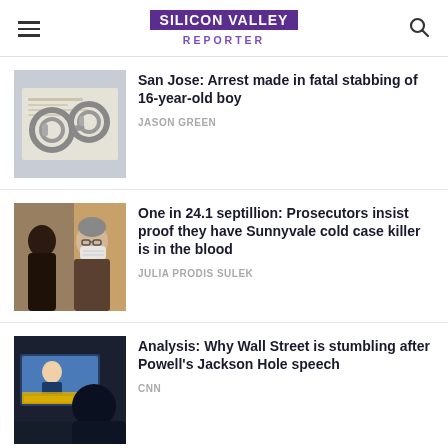SILICON VALLEY REPORTER
[Figure (photo): Handcuffs on a document paper background]
San Jose: Arrest made in fatal stabbing of 16-year-old boy
JASON GREEN
[Figure (photo): Person wearing a mask in a courtroom setting]
One in 24.1 septillion: Prosecutors insist proof they have Sunnyvale cold case killer is in the blood
JULIA PRODIS SULEK
[Figure (photo): Person watching a TV screen showing news about Powell's Jackson Hole speech]
Analysis: Why Wall Street is stumbling after Powell's Jackson Hole speech
CNN